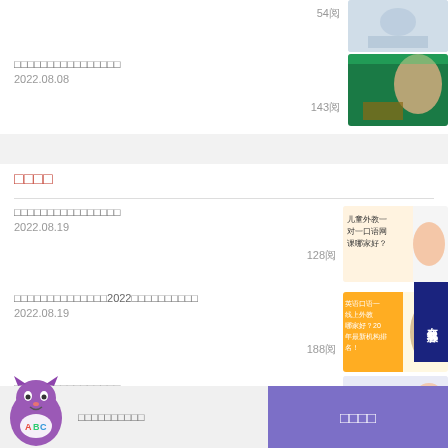54阅
[Figure (photo): Thumbnail image of online learning]
□□□□□□□□□□□□□□□□
2022.08.08
143阅
[Figure (photo): Teacher in front of green blackboard with book]
□□□□
□□□□□□□□□□□□□□□□
2022.08.19
128阅
[Figure (photo): 儿童外教一对一口语网课哪家好?]
□□□□□□□□□□□□□□2022□□□□□□□□□□
2022.08.19
188阅
[Figure (photo): 英语口语一线上外教哪家好?2022年最新机构排名！]
[Figure (logo): ABC cat mascot logo]
□□□□□□□□□□□□□□□□
□□□□□□□□□□
□□□□
在线客服